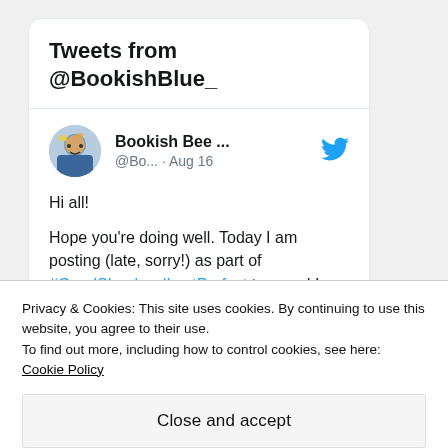Tweets from @BookishBlue_
Bookish Bee ... @Bo... · Aug 16
Hi all!

Hope you're doing well. Today I am posting (late, sorry!) as part of #GoodShepherdLastPerfect tour and I have for you an exclusive extract from the book
Privacy & Cookies: This site uses cookies. By continuing to use this website, you agree to their use.
To find out more, including how to control cookies, see here: Cookie Policy
Close and accept